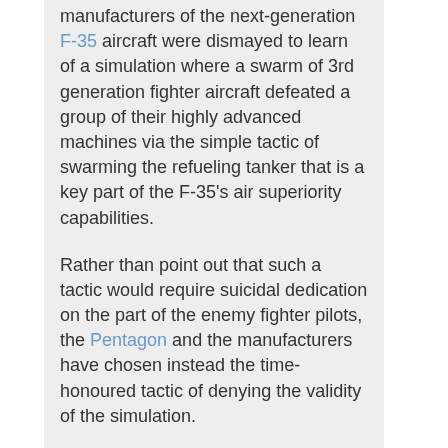manufacturers of the next-generation F-35 aircraft were dismayed to learn of a simulation where a swarm of 3rd generation fighter aircraft defeated a group of their highly advanced machines via the simple tactic of swarming the refueling tanker that is a key part of the F-35's air superiority capabilities.
Rather than point out that such a tactic would require suicidal dedication on the part of the enemy fighter pilots, the Pentagon and the manufacturers have chosen instead the time-honoured tactic of denying the validity of the simulation.
My point is that hypothetical battlegrounds with